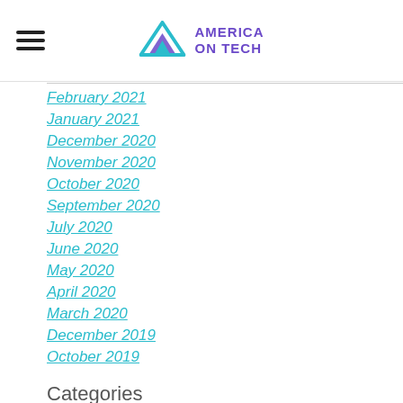America On Tech
February 2021
January 2021
December 2020
November 2020
October 2020
September 2020
July 2020
June 2020
May 2020
April 2020
March 2020
December 2019
October 2019
Categories
All
RSS Feed